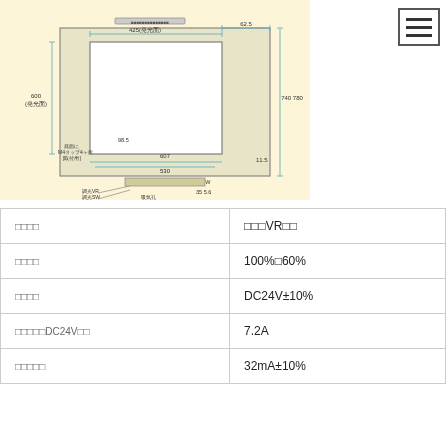[Figure (engineering-diagram): Front panel mechanical drawing showing dimensions: 425(発光面), 62.5, 600(発光面), 740 780, 98.5, 607, 530, 11.5, and labels for 排気ファン, 電源SW, 調光VR, 調光SW, 吸気孔, 入力コネクタ, パイロットランプ, 底面にM4タップ4ヶ所(取付用)]
| □□□□ | □□□VR□□ |
| □□□□ | 100%□60% |
| □□□□ | DC24V±10% |
| □□□□□DC24V□□ | 7.2A |
| □□□□□ | 32mA±10% |